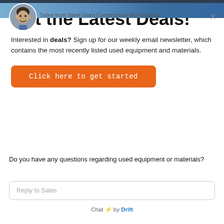Get the Latest Deals!
Interested in deals? Sign up for our weekly email newsletter, which contains the most recently listed used equipment and materials.
Click here to get started
[Figure (screenshot): Chat widget from Drift showing a sales representative photo, agent name 'Sales from Steel Giant Construction Marketplace', a close button, a chat question 'Do you have any questions regarding used equipment or materials?', a reply text input box labeled 'Reply to Sales', and a footer reading 'Chat by Drift'.]